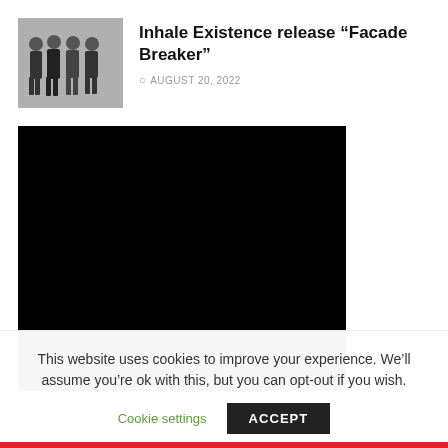[Figure (photo): Black and white photo of four band members standing in a row]
Inhale Existence release “Facade Breaker”
AUGUST 20, 2022
[Figure (screenshot): Black video player area (no content loaded)]
This website uses cookies to improve your experience. We’ll assume you’re ok with this, but you can opt-out if you wish.
Cookie settings
ACCEPT